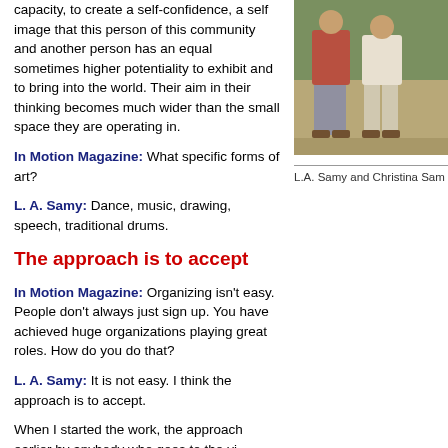capacity, to create a self-confidence, a self image that this person of this community and another person has an equal sometimes higher potentiality to exhibit and to bring into the world. Their aim in their thinking becomes much wider than the small space they are operating in.
[Figure (photo): Two people standing together outdoors, one in red/pink shirt and one in light colored clothing]
L.A. Samy and Christina Sam
In Motion Magazine: What specific forms of art?
L. A. Samy: Dance, music, drawing, speech, traditional drums.
The approach is to accept
In Motion Magazine: Organizing isn't easy. People don't always just sign up. You have achieved huge organizations playing great roles. How do you do that?
L. A. Samy: It is not easy. I think the approach is to accept.
When I started the work, the approach earlier by anybody who goes to the vi... called educated person who knows everything and the non-educated knows... attitude of the relationship.
When I came here, I said, “I don’t know anything about agriculture and you k... agriculture because you have been working.” So, at first, you are making som... who had never been accepted. (Letting them know) that they know somethin... person. This approach, only, has made them to accept me as a student.
You make somebody who had always been taught they are lower as somebo...